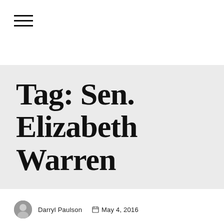☰ (hamburger menu icon)
Tag: Sen. Elizabeth Warren
Darryl Paulson  May 4, 2016